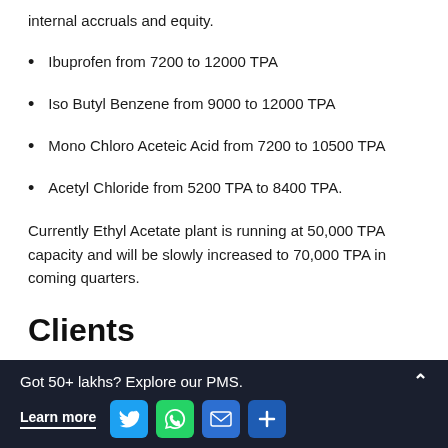internal accruals and equity.
Ibuprofen from 7200 to 12000 TPA
Iso Butyl Benzene from 9000 to 12000 TPA
Mono Chloro Aceteic Acid from 7200 to 10500 TPA
Acetyl Chloride from 5200 TPA to 8400 TPA.
Currently Ethyl Acetate plant is running at 50,000 TPA capacity and will be slowly increased to 70,000 TPA in coming quarters.
Clients
Got 50+ lakhs? Explore our PMS. Learn more